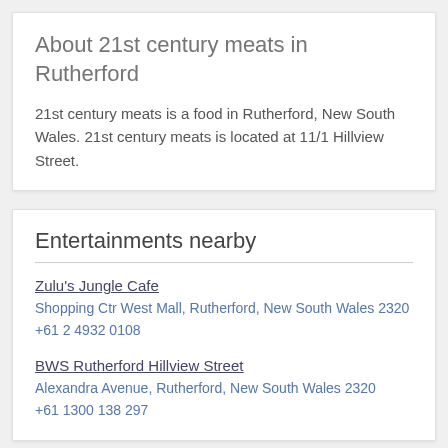About 21st century meats in Rutherford
21st century meats is a food in Rutherford, New South Wales. 21st century meats is located at 11/1 Hillview Street.
Entertainments nearby
Zulu's Jungle Cafe
Shopping Ctr West Mall, Rutherford, New South Wales 2320
+61 2 4932 0108
BWS Rutherford Hillview Street
Alexandra Avenue, Rutherford, New South Wales 2320
+61 1300 138 297